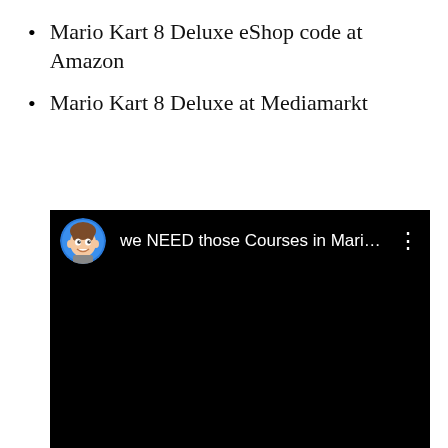Mario Kart 8 Deluxe eShop code at Amazon
Mario Kart 8 Deluxe at Mediamarkt
[Figure (screenshot): YouTube video thumbnail/player showing a dark/black video with a channel avatar (cartoon boy with blue circle) and title text 'we NEED those Courses in Mario …' with a three-dot menu icon on the right]